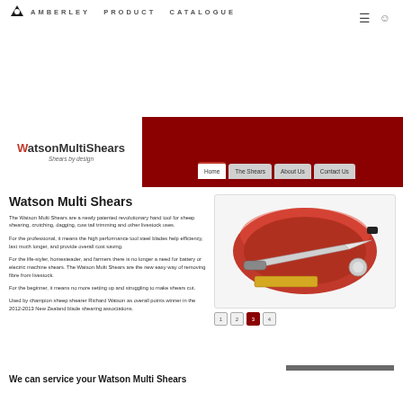AMBERLEY PRODUCT CATALOGUE
[Figure (screenshot): Watson MultiShears website screenshot showing logo, navigation tabs (Home, The Shears, About Us, Contact Us), product title, descriptive text paragraphs, a product image of shears in red case, pagination buttons (1,2,3,4), and a Go To Top button]
Watson Multi Shears
The Watson Multi Shears are a newly patented revolutionary hand tool for sheep shearing, crutching, dagging, cow tail trimming and other livestock uses.
For the professional, it means the high performance tool steel blades help efficiency, last much longer, and provide overall cost saving.
For the life-styler, homesteader, and farmers there is no longer a need for battery or electric machine shears. The Watson Multi Shears are the new easy way of removing fibre from livestock.
For the beginner, it means no more setting up and struggling to make shears cut.
Used by champion sheep shearer Richard Watson as overall points winner in the 2012-2013 New Zealand blade shearing associations.
We can service your Watson Multi Shears